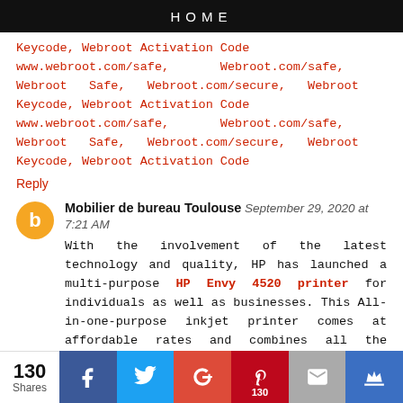HOME
Keycode, Webroot Activation Code www.webroot.com/safe, Webroot.com/safe, Webroot Safe, Webroot.com/secure, Webroot Keycode, Webroot Activation Code www.webroot.com/safe, Webroot.com/safe, Webroot Safe, Webroot.com/secure, Webroot Keycode, Webroot Activation Code
Reply
Mobilier de bureau Toulouse September 29, 2020 at 7:21 AM
With the involvement of the latest technology and quality, HP has launched a multi-purpose HP Envy 4520 printer for individuals as well as businesses. This All-in-one-purpose inkjet printer comes at affordable rates and combines all the necessary functions like copy, scan, wireless printing, AirPrint, and two-sided duplex printing, etc., in a single